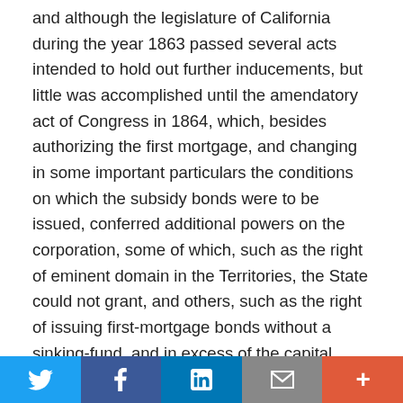and although the legislature of California during the year 1863 passed several acts intended to hold out further inducements, but little was accomplished until the amendatory act of Congress in 1864, which, besides authorizing the first mortgage, and changing in some important particulars the conditions on which the subsidy bonds were to be issued, conferred additional powers on the corporation, some of which, such as the right of eminent domain in the Territories, the State could not grant, and others, such as the right of issuing first-mortgage bonds without a sinking-fund, and in excess of the capital stock, it had seen fit to withhold. This act also reserved to Congress full power of amendment, and was promptly accepted by the corporation. With this addition of corporate powers and pecuniary resources the work was pushed forward to completion with unexampled energy. But for the corporate powers and financial aid granted by Congress it is not
[Figure (other): Social sharing bar with Twitter, Facebook, LinkedIn, Email, and More buttons]